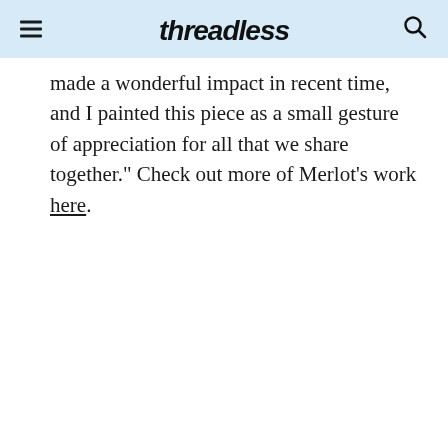Threadless [header with menu and search icons]
made a wonderful impact in recent time, and I painted this piece as a small gesture of appreciation for all that we share together." Check out more of Merlot’s work here.